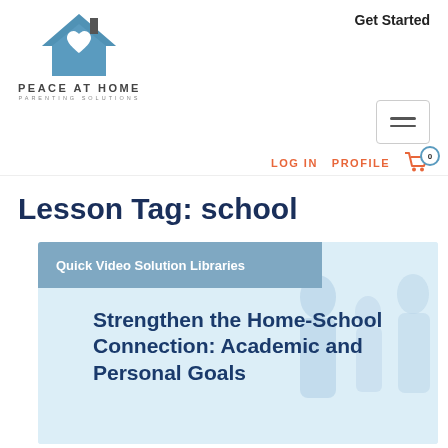[Figure (logo): Peace At Home Parenting Solutions logo — house icon with heart, company name below]
Get Started
LOG IN   PROFILE   0 (cart)
Lesson Tag: school
Quick Video Solution Libraries
Strengthen the Home-School Connection: Academic and Personal Goals